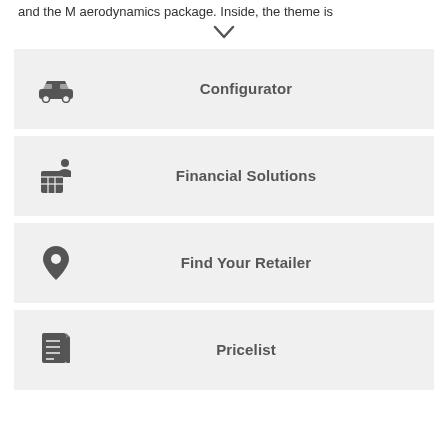and the M aerodynamics package. Inside, the theme is
Configurator
Financial Solutions
Find Your Retailer
Pricelist